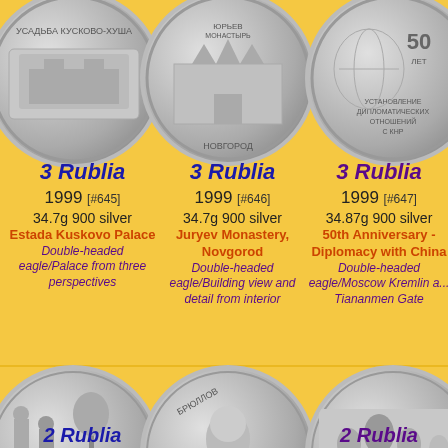[Figure (photo): Silver coin - Estada Kuskovo Palace, Russia 1999]
[Figure (photo): Silver coin - Juryev Monastery Novgorod, Russia 1999]
[Figure (photo): Silver coin - 50th Anniversary Diplomacy with China, Russia 1999]
3 Rublia 1999 [#645] 34.7g 900 silver Estada Kuskovo Palace Double-headed eagle/Palace from three perspectives
3 Rublia 1999 [#646] 34.7g 900 silver Juryev Monastery, Novgorod Double-headed eagle/Building view and detail from interior
3 Rublia 1999 [#647] 34.87g 900 silver 50th Anniversary - Diplomacy with China Double-headed eagle/Moscow Kremlin and Tiananmen Gate
[Figure (photo): Silver coin - bottom left, Russian historical scene]
[Figure (photo): Silver coin - Bryullov portrait coin]
[Figure (photo): Silver coin - bottom right, Russian scene]
2 Rublia
2 Rublia